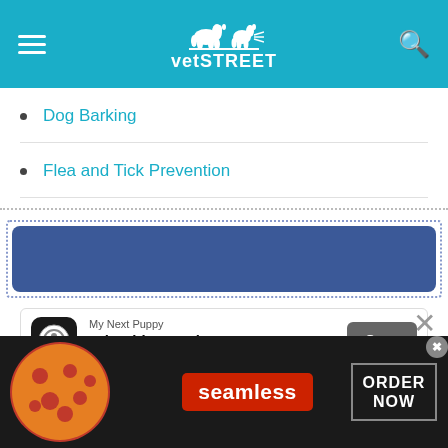vetSTREET
Dog Barking
Flea and Tick Prevention
[Figure (screenshot): Blue Facebook-style banner advertisement placeholder]
[Figure (screenshot): My Next Puppy app advertisement: 'Adorable Puppies Available Now' with Open button]
This site uses cookies as described in our Cookie Policy. Please click
[Figure (screenshot): Seamless food delivery advertisement with pizza image, seamless brand name, and ORDER NOW button]